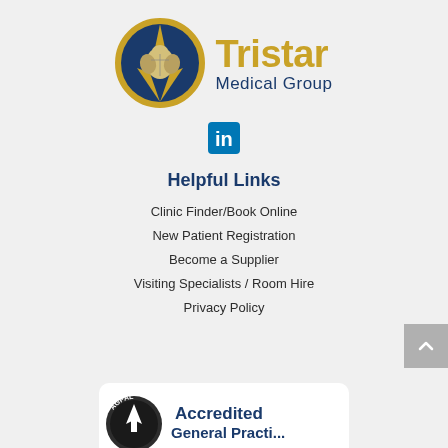[Figure (logo): Tristar Medical Group logo: circular emblem with blue background, gold scarab beetle and compass/arrow design, with 'Tristar' in gold and 'Medical Group' in dark blue text]
[Figure (logo): LinkedIn social media icon - blue square with white 'in' text]
Helpful Links
Clinic Finder/Book Online
New Patient Registration
Become a Supplier
Visiting Specialists / Room Hire
Privacy Policy
[Figure (logo): AGPAL Accredited General Practice logo - circular AGPAL badge on left, 'Accredited General Practi...' text on right in dark blue, white background with rounded corners]